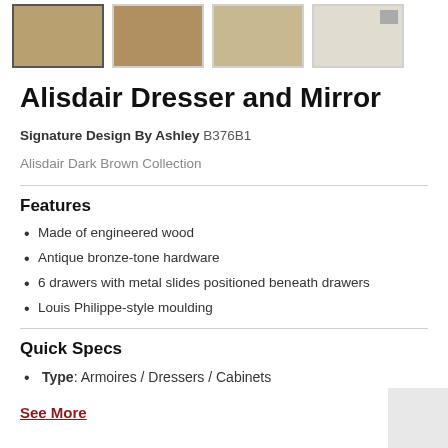[Figure (photo): Row of four product thumbnail images showing a dark brown dresser from various angles, first thumbnail has a selected border]
Alisdair Dresser and Mirror
Signature Design By Ashley B376B1
Alisdair Dark Brown Collection
Features
Made of engineered wood
Antique bronze-tone hardware
6 drawers with metal slides positioned beneath drawers
Louis Philippe-style moulding
Quick Specs
Type: Armoires / Dressers / Cabinets
See More